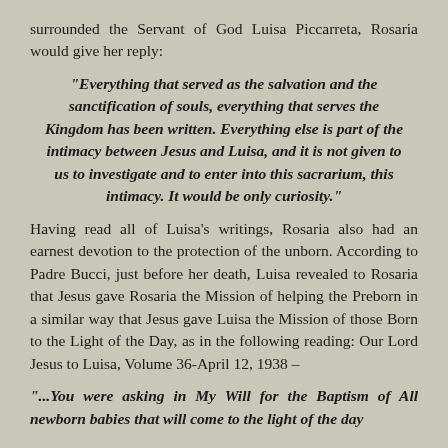surrounded the Servant of God Luisa Piccarreta, Rosaria would give her reply:
“Everything that served as the salvation and the sanctification of souls, everything that serves the Kingdom has been written. Everything else is part of the intimacy between Jesus and Luisa, and it is not given to us to investigate and to enter into this sacrarium, this intimacy. It would be only curiosity.”
Having read all of Luisa’s writings, Rosaria also had an earnest devotion to the protection of the unborn. According to Padre Bucci, just before her death, Luisa revealed to Rosaria that Jesus gave Rosaria the Mission of helping the Preborn in a similar way that Jesus gave Luisa the Mission of those Born to the Light of the Day, as in the following reading: Our Lord Jesus to Luisa, Volume 36-April 12, 1938 –
“...You were asking in My Will for the Baptism of All newborn babies that will come to the light of the day